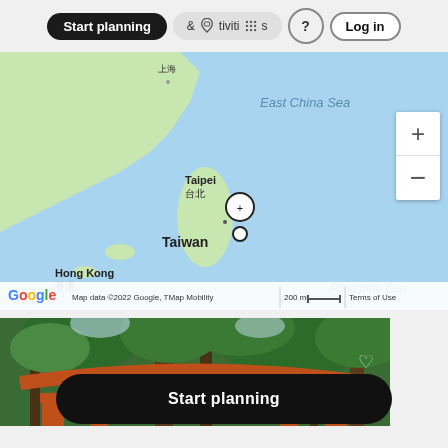[Figure (screenshot): Top navigation bar with 'Start planning' dark pill button, '& Activities' text with icons, help icon, and Log in button]
[Figure (map): Google Maps showing East China Sea, Taiwan with Taipei marked, Hong Kong, Philippine Sea. Map data ©2022 Google, TMap Mobility. 200 mi scale. Location pin marker shown near Taipei.]
[Figure (photo): Photo of a Japanese torii gate (orange/red) framed by green trees, viewed from below looking up]
Start planning